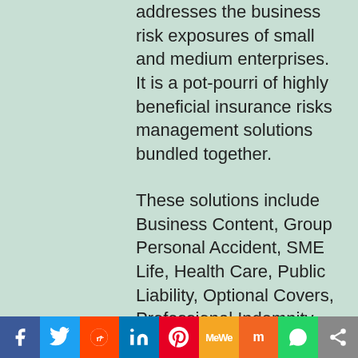addresses the business risk exposures of small and medium enterprises. It is a pot-pourri of highly beneficial insurance risks management solutions bundled together.
These solutions include Business Content, Group Personal Accident, SME Life, Health Care, Public Liability, Optional Covers, Professional Indemnity, Comprehensive Motor, Stock and General Conditions.
Speaking at the event, the Chief Executive Officer of the company, Mr Kunle Ahmed stated, “Our aim is to deliver the appropriate solutions for
[Figure (other): Social media sharing bar with icons: Facebook, Twitter, Reddit, LinkedIn, Pinterest, MeWe, Mix, WhatsApp, Share]